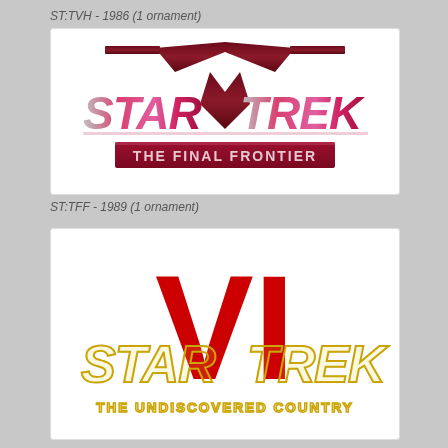ST:TVH - 1986 (1 ornament)
[Figure (logo): Star Trek V: The Final Frontier movie logo with stylized metallic pink/red text and dark red geometric chevron/V shape above]
ST:TFF - 1989 (1 ornament)
[Figure (logo): Star Trek VI: The Undiscovered Country movie logo with large red VI numeral, gold/yellow outlined STAR TREK text, and gold subtitle THE UNDISCOVERED COUNTRY]